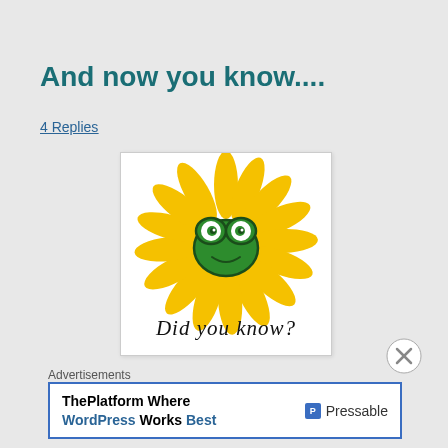And now you know....
4 Replies
[Figure (illustration): A cartoon-style illustration showing a smiling frog face in the center of a sunflower with golden petals radiating outward. Below the image reads 'Did you know?' in handwritten-style black text.]
Advertisements
ThePlatform Where WordPress Works Best  [P] Pressable